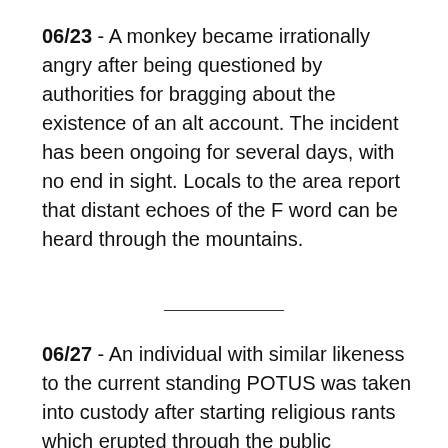06/23 - A monkey became irrationally angry after being questioned by authorities for bragging about the existence of an alt account. The incident has been ongoing for several days, with no end in sight. Locals to the area report that distant echoes of the F word can be heard through the mountains.
06/27 - An individual with similar likeness to the current standing POTUS was taken into custody after starting religious rants which erupted through the public channels. The evidence showed that, against people's better understanding of how things work, a human can be a monkey and a donkey